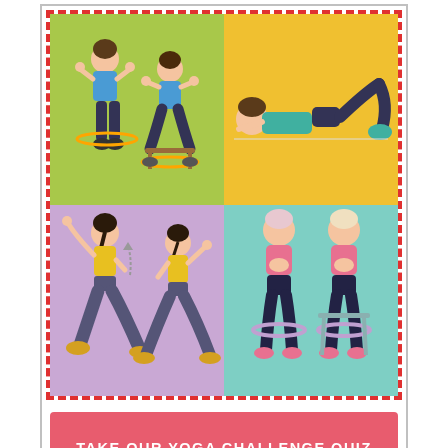[Figure (illustration): Four-panel fitness illustration grid with dashed red border. Top-left (green background): two figures using resistance bands while squatting/sitting. Top-right (yellow background): person lying down doing leg raises/bridge. Bottom-left (purple background): two figures doing lunge/warrior pose stretches. Bottom-right (teal background): two figures standing doing squat exercises with resistance bands.]
TAKE OUR YOGA CHALLENGE QUIZ
This site may contain affiliate links or mention